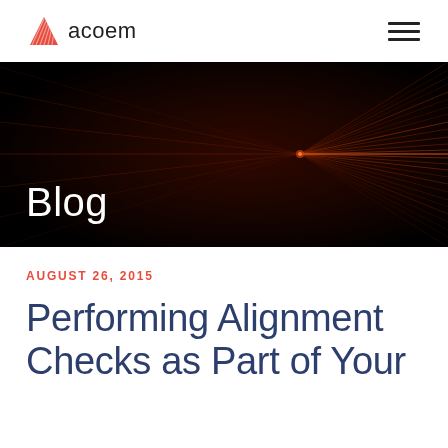acoem
[Figure (illustration): Dark banner with radiating red/orange fiber-optic light lines converging from center-right on a black background, with the word 'Blog' overlaid in white on the left.]
Blog
AUGUST 26, 2015
Performing Alignment Checks as Part of Your